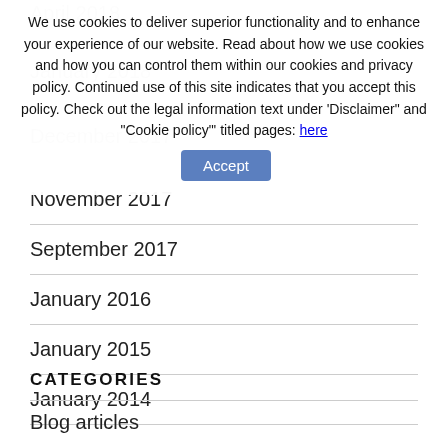We use cookies to deliver superior functionality and to enhance your experience of our website. Read about how we use cookies and how you can control them within our cookies and privacy policy. Continued use of this site indicates that you accept this policy. Check out the legal information text under 'Disclaimer" and "Cookie policy" titled pages: here [Accept]
April 2018
January 2018
December 2017
November 2017
September 2017
January 2016
January 2015
January 2014
CATEGORIES
Blog articles